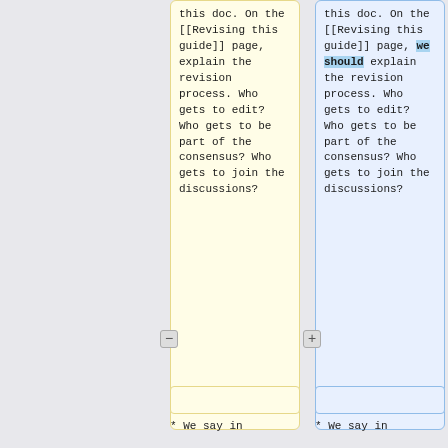this doc. On the [[Revising this guide]] page, explain the revision process. Who gets to edit? Who gets to be part of the consensus? Who gets to join the discussions?
this doc. On the [[Revising this guide]] page, we should explain the revision process. Who gets to edit? Who gets to be part of the consensus? Who gets to join the discussions?
* We say in
* We say in